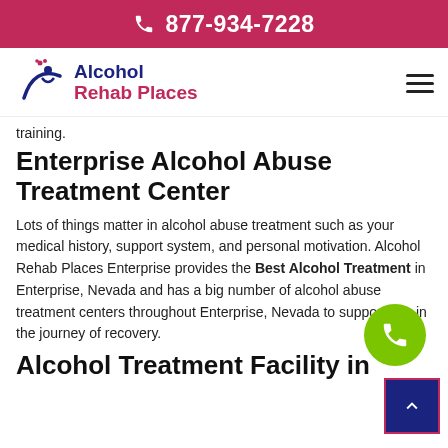877-934-7228
[Figure (logo): Alcohol Rehab Places logo with figure icon and hearts]
training.
Enterprise Alcohol Abuse Treatment Center
Lots of things matter in alcohol abuse treatment such as your medical history, support system, and personal motivation. Alcohol Rehab Places Enterprise provides the Best Alcohol Treatment in Enterprise, Nevada and has a big number of alcohol abuse treatment centers throughout Enterprise, Nevada to support you in the journey of recovery.
Alcohol Treatment Facility in